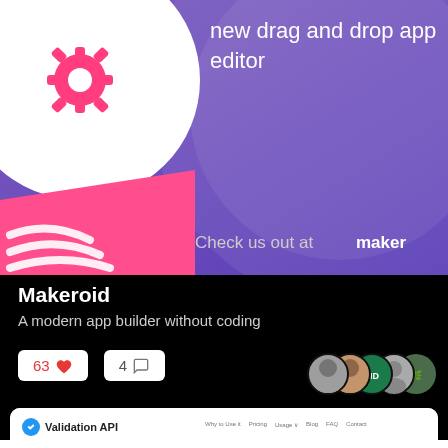[Figure (screenshot): Purple gradient banner showing app icon with gear symbol (pink/white), decorative circles, text 'new drag and drop app editor' and 'Check us out at maker']
Makeroid
A modern app builder without coding
63 ♥  4 💬
[Figure (screenshot): Validation API website screenshot showing logo, navigation (Why to Use it, Pricing, Usage, Blog, FAQ, Contact), and heading 'Real-time Email Validation' with phone illustration]